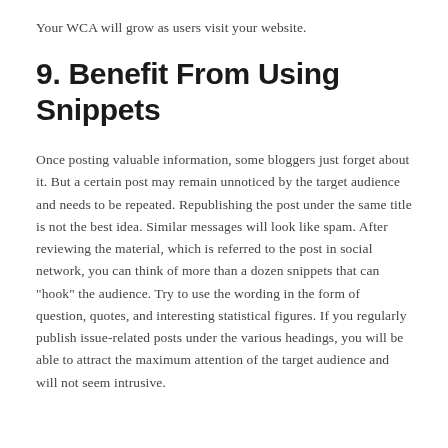Your WCA will grow as users visit your website.
9. Benefit From Using Snippets
Once posting valuable information, some bloggers just forget about it. But a certain post may remain unnoticed by the target audience and needs to be repeated. Republishing the post under the same title is not the best idea. Similar messages will look like spam. After reviewing the material, which is referred to the post in social network, you can think of more than a dozen snippets that can "hook" the audience. Try to use the wording in the form of question, quotes, and interesting statistical figures. If you regularly publish issue-related posts under the various headings, you will be able to attract the maximum attention of the target audience and will not seem intrusive.